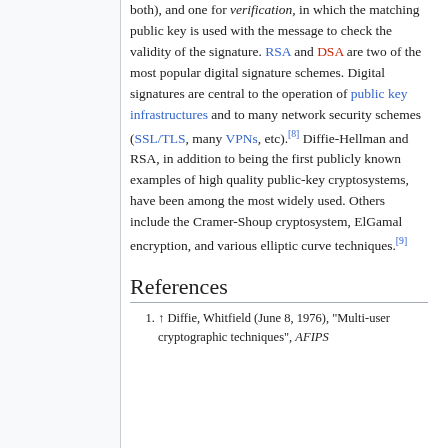both), and one for verification, in which the matching public key is used with the message to check the validity of the signature. RSA and DSA are two of the most popular digital signature schemes. Digital signatures are central to the operation of public key infrastructures and to many network security schemes (SSL/TLS, many VPNs, etc).[8] Diffie-Hellman and RSA, in addition to being the first publicly known examples of high quality public-key cryptosystems, have been among the most widely used. Others include the Cramer-Shoup cryptosystem, ElGamal encryption, and various elliptic curve techniques.[9]
References
1. ↑ Diffie, Whitfield (June 8, 1976), "Multi-user cryptographic techniques", AFIPS